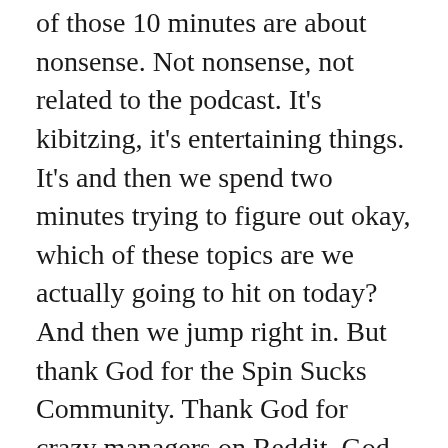of those 10 minutes are about nonsense. Not nonsense, not related to the podcast. It's kibitzing, it's entertaining things. It's and then we spend two minutes trying to figure out okay, which of these topics are we actually going to hit on today? And then we jump right in. But thank God for the Spin Sucks Community. Thank God for crazy managers on Reddit. God, I really hope that the people who are suggesting hidden lists are not actually managers. That they don't have people working for them.
GINI: Very bad advice. Very bad